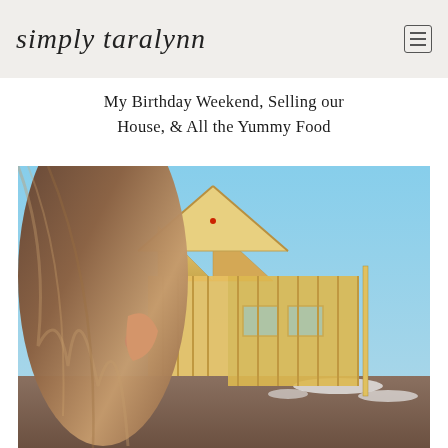simply taralynn
My Birthday Weekend, Selling our House, & All the Yummy Food
[Figure (photo): A woman with long dark hair in the foreground, with a house under construction in the background. The house frame is made of wood/lumber, shot in warm golden-hour light with some snow on the ground.]